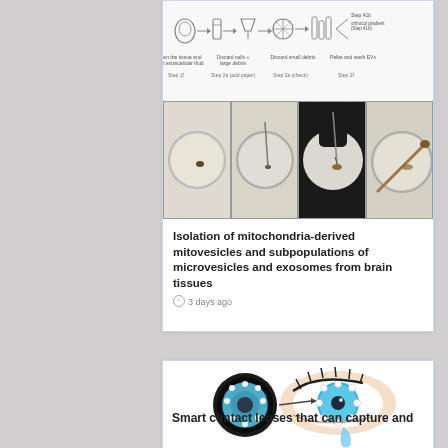[Figure (schematic): Top portion of a laboratory protocol diagram showing steps for isolating mitochondria-derived mitovesicles, with labeled steps and arrows.]
[Figure (photo): Four sequential laboratory photos showing petri dishes with tissue samples being processed: Step 1f (petri dish with tissue), Step 2a add paper, Step 2a check, Step 2f - showing progressive dissection steps.]
Isolation of mitochondria-derived mitovesicles and subpopulations of microvesicles and exosomes from brain tissues
3 days ago
[Figure (illustration): Illustration of a smart contact lens being placed on an eye, showing a blue contact lens with white LED-like dots arranged in a circle, and a teardrop falling from the eye. The eye is drawn in a stylized fashion with eyelashes visible.]
Smart contact lenses that can capture and